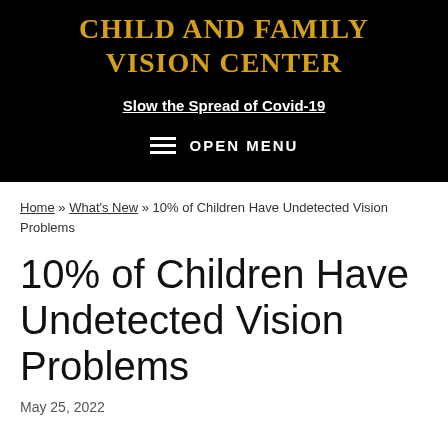Child and Family Vision Center
Slow the Spread of Covid-19
OPEN MENU
Home » What's New » 10% of Children Have Undetected Vision Problems
10% of Children Have Undetected Vision Problems
May 25, 2022